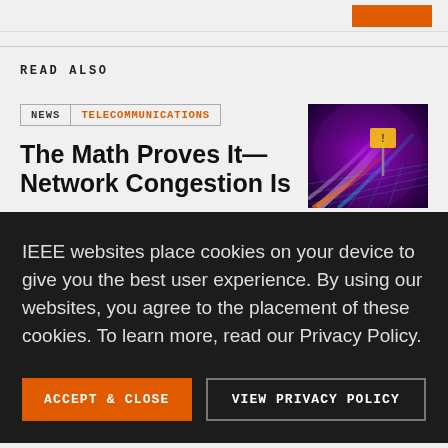READ ALSO
NEWS | TELECOMMUNICATIONS
The Math Proves It—Network Congestion Is Inevitable
[Figure (photo): Colorful abstract network/traffic image with bright purple, orange, and cyan light streaks and a road sign silhouette]
IEEE websites place cookies on your device to give you the best user experience. By using our websites, you agree to the placement of these cookies. To learn more, read our Privacy Policy.
ACCEPT & CLOSE
VIEW PRIVACY POLICY